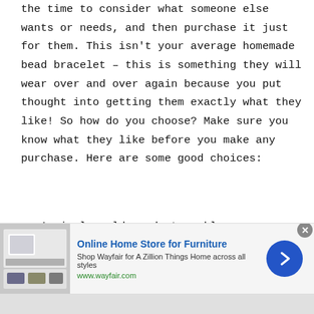the time to consider what someone else wants or needs, and then purchase it just for them. This isn't your average homemade bead bracelet – this is something they will wear over and over again because you put thought into getting them exactly what they like! So how do you choose? Make sure you know what they like before you make any purchase. Here are some good choices:
A simple gold pendant necklace
A pair of gold or silver earrings
A beautiful ring
[Figure (other): Advertisement banner for Wayfair Online Home Store for Furniture showing product image, text and navigation arrow]